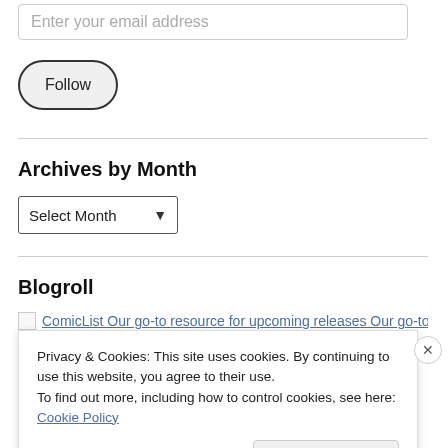Enter your email address
Follow
Archives by Month
Select Month
Blogroll
ComicList Our go-to resource for upcoming releases Our go-to
Privacy & Cookies: This site uses cookies. By continuing to use this website, you agree to their use.
To find out more, including how to control cookies, see here: Cookie Policy
Close and accept